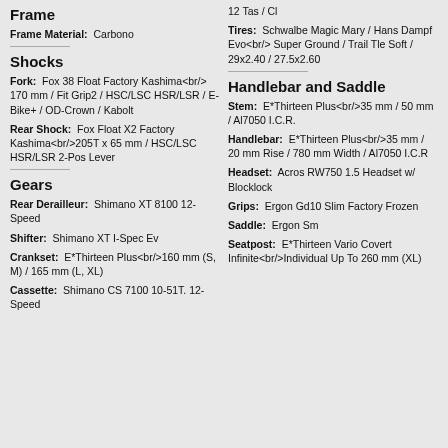Frame
Frame Material: Carbono
Shocks
Fork: Fox 38 Float Factory Kashima 170 mm / Fit Grip2 / HSC/LSC HSR/LSR / E-Bike+ / OD-Crown / Kabolt
Rear Shock: Fox Float X2 Factory Kashima 205T x 65 mm / HSC/LSC HSR/LSR 2-Pos Lever
Gears
Rear Derailleur: Shimano XT 8100 12-Speed
Shifter: Shimano XT I-Spec Ev
Crankset: E*Thirteen Plus 160 mm (S, M) / 165 mm (L, XL)
Cassette: Shimano CS 7100 10-51T. 12-Speed
12 Tas / Cl
Tires: Schwalbe Magic Mary / Hans Dampf Evo Super Ground / Trail Tle Soft / 29x2.40 / 27.5x2.60
Handlebar and Saddle
Stem: E*Thirteen Plus 35 mm / 50 mm / Al7050 I.C.R.
Handlebar: E*Thirteen Plus 35 mm / 20 mm Rise / 780 mm Width / Al7050 I.C.R
Headset: Acros RW750 1.5 Headset w/ Blocklock
Grips: Ergon Gd10 Slim Factory Frozen
Saddle: Ergon Sm
Seatpost: E*Thirteen Vario Covert Infinite Individual Up To 260 mm (XL)